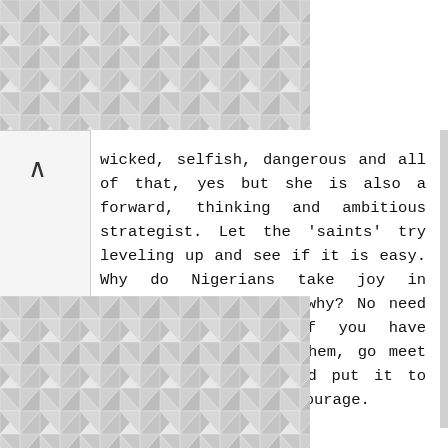[Figure (other): Geometric triangle tile pattern background, top region]
wicked, selfish, dangerous and all of that, yes but she is also a forward, thinking and ambitious strategist. Let the 'saints' try leveling up and see if it is easy. Why do Nigerians take joy in running people down, why? No need to troll anyone. If you have something to say to them, go meet them face to face and put it to them if you have the courage.
[Figure (other): Geometric triangle tile pattern background, bottom region]